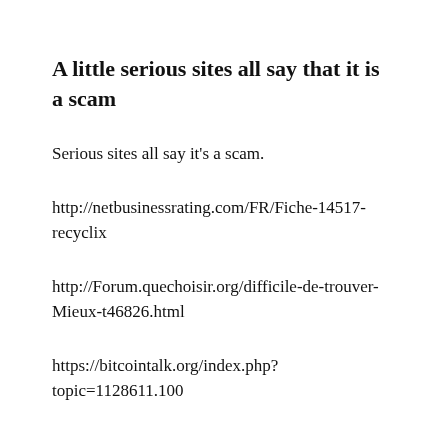A little serious sites all say that it is a scam
Serious sites all say it's a scam.
http://netbusinessrating.com/FR/Fiche-14517-recyclix
http://Forum.quechoisir.org/difficile-de-trouver-Mieux-t46826.html
https://bitcointalk.org/index.php?topic=1128611.100